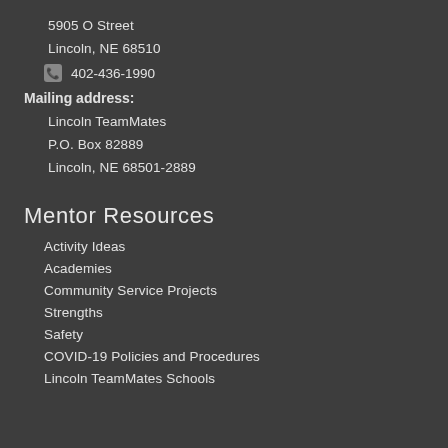5905 O Street
Lincoln, NE 68510
402-436-1990
Mailing address:
Lincoln TeamMates
P.O. Box 82889
Lincoln, NE 68501-2889
Mentor Resources
Activity Ideas
Academies
Community Service Projects
Strengths
Safety
COVID-19 Policies and Procedures
Lincoln TeamMates Schools